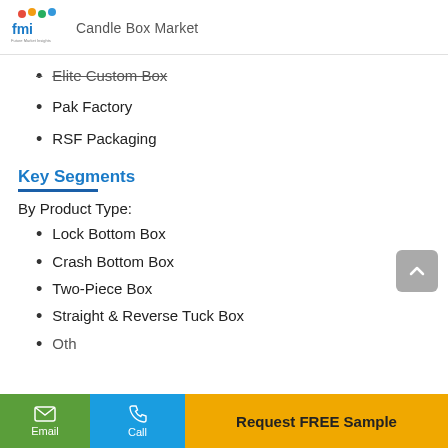Candle Box Market
Elite Custom Box
Pak Factory
RSF Packaging
Key Segments
By Product Type:
Lock Bottom Box
Crash Bottom Box
Two-Piece Box
Straight & Reverse Tuck Box
Email | Call | Request FREE Sample